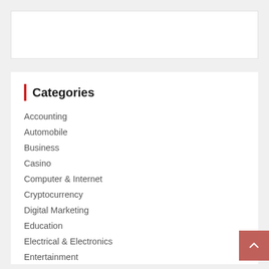Categories
Accounting
Automobile
Business
Casino
Computer & Internet
Cryptocurrency
Digital Marketing
Education
Electrical & Electronics
Entertainment
Fashion
Foods